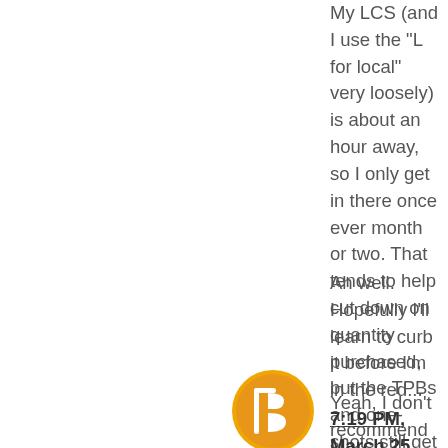My LCS (and I use the "L for local" very loosely) is about an hour away, so I only get in there once ever month or two. That tends to help cut down on quantity purchased, but the TPBs and one-shots still get me.
Ah well. Hopefully I'll learn to curb it before I'm in the red...
7:19 PM, March 25, 2011
Sean Kleefeld said...
[Figure (logo): Blogger avatar icon, orange circle with white B logo]
Yeah, I don't recommend debt if you can avoid it at all. Though I can't blame anyone who falls into it. My understanding is that most major debts people have